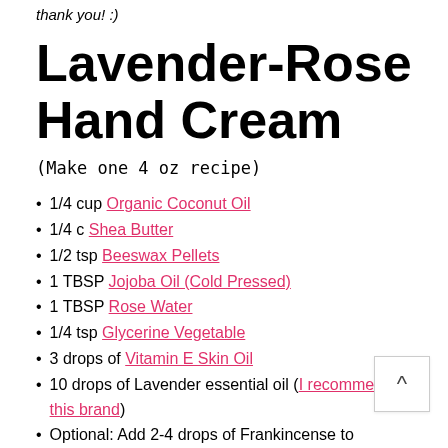thank you! :)
Lavender-Rose Hand Cream
(Make one 4 oz recipe)
1/4 cup Organic Coconut Oil
1/4 c Shea Butter
1/2 tsp Beeswax Pellets
1 TBSP Jojoba Oil (Cold Pressed)
1 TBSP Rose Water
1/4 tsp Glycerine Vegetable
3 drops of Vitamin E Skin Oil
10 drops of Lavender essential oil (I recommend this brand)
Optional: Add 2-4 drops of Frankincense to